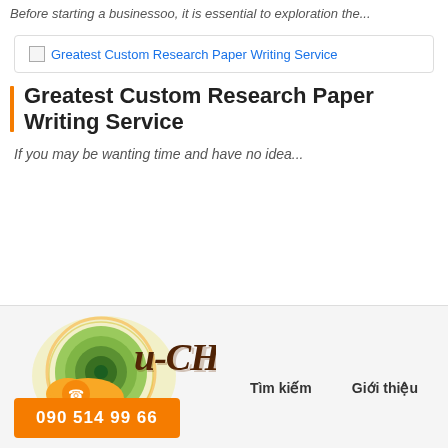Before starting a businessoo, it is essential to exploration the...
[Figure (screenshot): Card box with broken image icon and link text: Greatest Custom Research Paper Writing Service]
Greatest Custom Research Paper Writing Service
If you may be wanting time and have no idea...
[Figure (logo): U-CHA logo with stylized snail/spiral graphic in green, yellow, and brown, with decorative script text U-CHA in dark brown]
Tìm kiếm    Giới thiệu
090 514 99 66